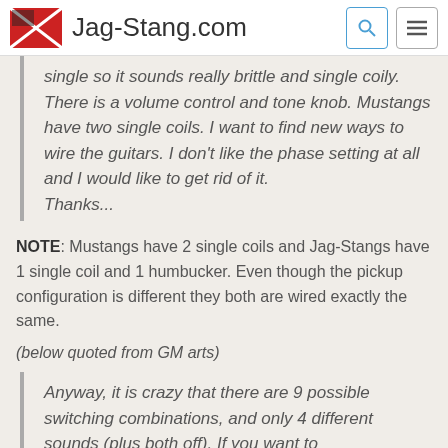Jag-Stang.com
single so it sounds really brittle and single coily. There is a volume control and tone knob. Mustangs have two single coils. I want to find new ways to wire the guitars. I don’t like the phase setting at all and I would like to get rid of it.
Thanks...
NOTE: Mustangs have 2 single coils and Jag-Stangs have 1 single coil and 1 humbucker. Even though the pickup configuration is different they both are wired exactly the same.
(below quoted from GM arts)
Anyway, it is crazy that there are 9 possible switching combinations, and only 4 different sounds (plus both off). If you want to